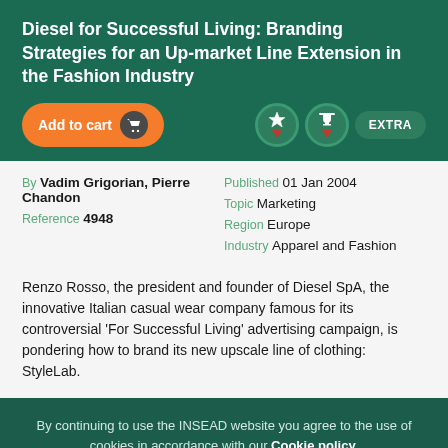Diesel for Successful Living: Branding Strategies for an Up-market Line Extension in the Fashion Industry
By Vadim Grigorian, Pierre Chandon
Reference 4948
Published 01 Jan 2004
Topic Marketing
Region Europe
Industry Apparel and Fashion
Renzo Rosso, the president and founder of Diesel SpA, the innovative Italian casual wear company famous for its controversial 'For Successful Living' advertising campaign, is pondering how to brand its new upscale line of clothing: StyleLab.
By continuing to use the INSEAD website you agree to the use of cookies in accordance with our Cookie policy.
Manage cookies
OK